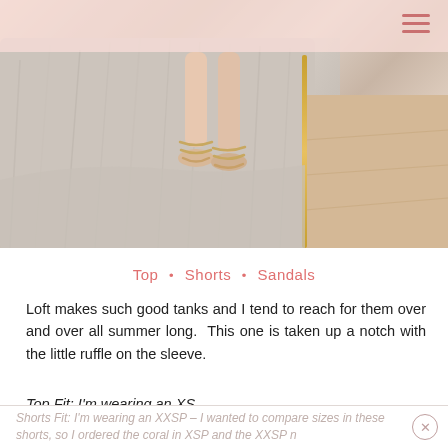[Figure (photo): Photo of a person's feet and legs standing on a fluffy white/grey shag rug, wearing gold strappy sandals. Wooden floor and gold-framed furniture visible to the right.]
Top • Shorts • Sandals
Loft makes such good tanks and I tend to reach for them over and over all summer long.  This one is taken up a notch with the little ruffle on the sleeve.
Top Fit: I'm wearing an XS
Shorts Fit: I'm wearing an XXSP – I wanted to compare sizes in these shorts, so I ordered the coral in XSP and the XXSP n